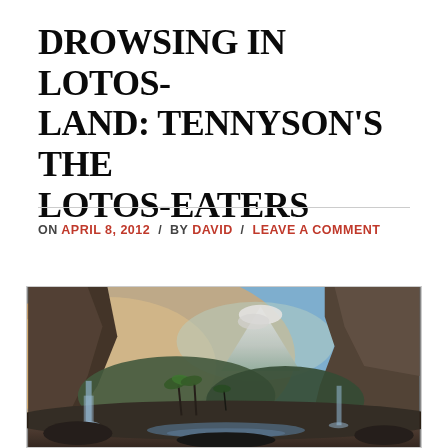DROWSING IN LOTOS-LAND: TENNYSON'S THE LOTOS-EATERS
ON APRIL 8, 2012 / BY DAVID / LEAVE A COMMENT
[Figure (illustration): A romantic landscape painting showing a dramatic mountain scene with cliffs, waterfalls, tropical trees, and a large snow-capped mountain in the background under a warm sunset sky.]